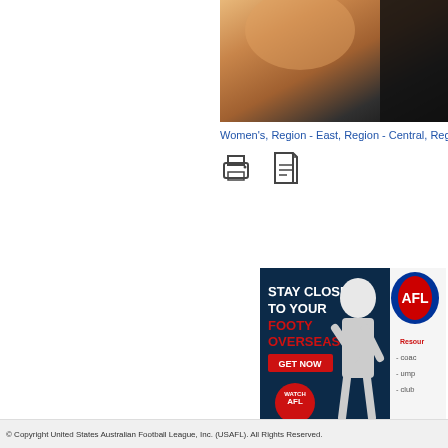[Figure (photo): Partial photo of a person in a dark jersey, cropped at the top-right of the page]
Women's, Region - East, Region - Central, Region
[Figure (other): Print and PDF icons]
[Figure (other): AFL advertisement banner: STAY CLOSE TO YOUR FOOTY OVERSEAS - GET NOW, Watch AFL badge, player photo, AFL logo with Resources links]
© Copyright United States Australian Football League, Inc. (USAFL). All Rights Reserved.